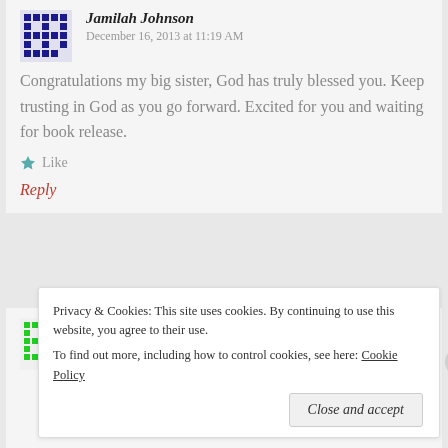Jamilah Johnson   December 16, 2013 at 11:19 AM
Congratulations my big sister, God has truly blessed you. Keep trusting in God as you go forward. Excited for you and waiting for book release.
Like
Reply
chaturbate token hack 2013   January 12, 2014 at 4:17 AM
Privacy & Cookies: This site uses cookies. By continuing to use this website, you agree to their use. To find out more, including how to control cookies, see here: Cookie Policy
Close and accept